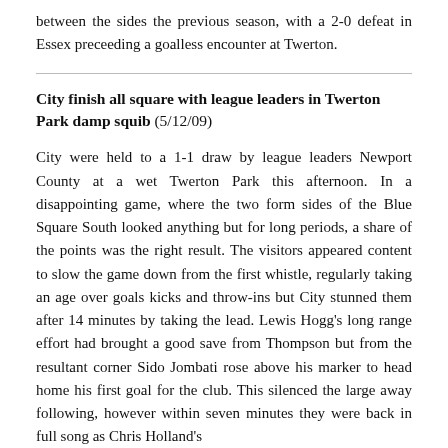between the sides the previous season, with a 2-0 defeat in Essex preceeding a goalless encounter at Twerton.
City finish all square with league leaders in Twerton Park damp squib (5/12/09)
City were held to a 1-1 draw by league leaders Newport County at a wet Twerton Park this afternoon. In a disappointing game, where the two form sides of the Blue Square South looked anything but for long periods, a share of the points was the right result. The visitors appeared content to slow the game down from the first whistle, regularly taking an age over goals kicks and throw-ins but City stunned them after 14 minutes by taking the lead. Lewis Hogg's long range effort had brought a good save from Thompson but from the resultant corner Sido Jombati rose above his marker to head home his first goal for the club. This silenced the large away following, however within seven minutes they were back in full song as Chris Holland's